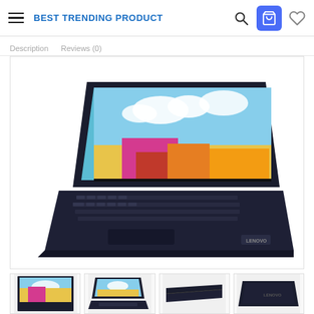BEST TRENDING PRODUCT
Description   Reviews (0)
[Figure (photo): Lenovo IdeaPad laptop in dark navy/black color shown at an angle, with colorful display visible, keyboard and trackpad visible, Lenovo logo on bottom right corner]
[Figure (photo): Thumbnail 1: Lenovo laptop front view with colorful display]
[Figure (photo): Thumbnail 2: Lenovo laptop angled view with keyboard]
[Figure (photo): Thumbnail 3: Lenovo laptop closed, side profile view]
[Figure (photo): Thumbnail 4: Lenovo laptop closed, top view]